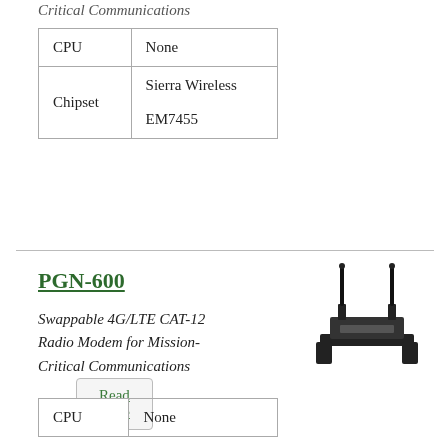Critical Communications
| CPU | None |
| Chipset | Sierra Wireless EM7455 |
Read more
PGN-600
Swappable 4G/LTE CAT-12 Radio Modem for Mission-Critical Communications
[Figure (photo): PGN-600 device with two antennas mounted on a bracket]
| CPU | None |